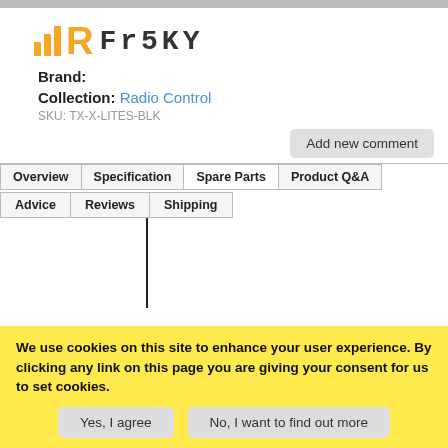[Figure (logo): FrSky brand logo with yellow bar chart icon and stylized FrSKY text]
Brand:
Collection: Radio Control
SKU: TX-X-LITES-BLK
Add new comment
Overview | Specification | Spare Parts | Product Q&A | Advice | Reviews | Shipping
[Figure (other): Vertical thin black line, like a stylus or antenna]
We use cookies on this site to enhance your user experience. By clicking any link on this page you are giving your consent for us to set cookies.
Yes, I agree
No, I want to find out more